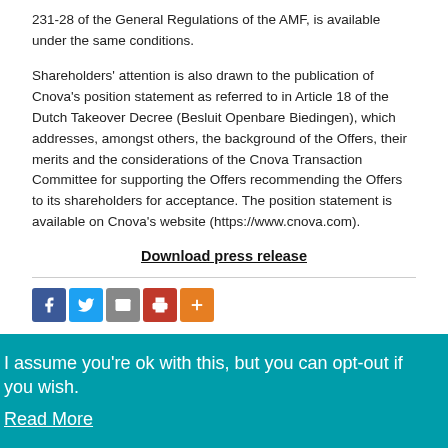231-28 of the General Regulations of the AMF, is available under the same conditions.
Shareholders’ attention is also drawn to the publication of Cnova’s position statement as referred to in Article 18 of the Dutch Takeover Decree (Besluit Openbare Biedingen), which addresses, amongst others, the background of the Offers, their merits and the considerations of the Cnova Transaction Committee for supporting the Offers recommending the Offers to its shareholders for acceptance. The position statement is available on Cnova’s website (https://www.cnova.com).
Download press release
[Figure (infographic): Social share icons: Facebook (blue), Twitter (light blue), Email (grey), Print (red), More (orange)]
I assume you're ok with this, but you can opt-out if you wish.
Read More